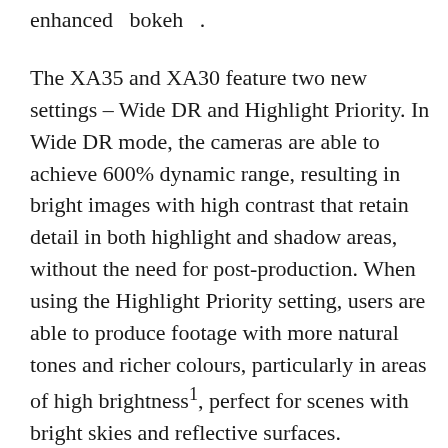enhanced bokeh .
The XA35 and XA30 feature two new settings – Wide DR and Highlight Priority. In Wide DR mode, the cameras are able to achieve 600% dynamic range, resulting in bright images with high contrast that retain detail in both highlight and shadow areas, without the need for post-production. When using the Highlight Priority setting, users are able to produce footage with more natural tones and richer colours, particularly in areas of high brightness¹, perfect for scenes with bright skies and reflective surfaces.
Both models also feature slow and fast recording modes, supporting a range of shooting scenarios with interval recording options up to a maximum of 1200x normal speed.